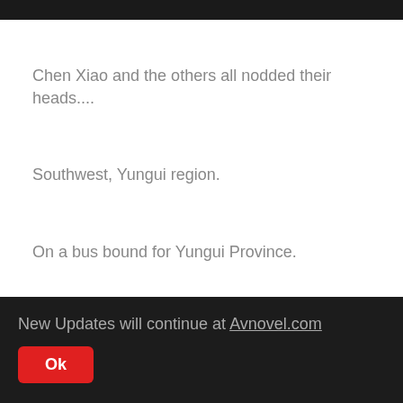Chen Xiao and the others all nodded their heads....
Southwest, Yungui region.
On a bus bound for Yungui Province.
At this moment, the bus was already traveling on a
New Updates will continue at Avnovel.com